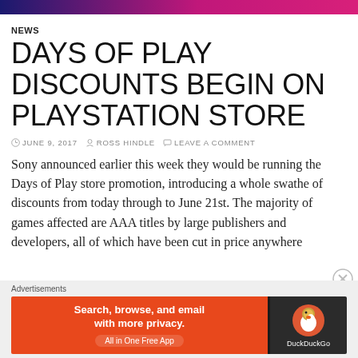Navigation header bar
NEWS
DAYS OF PLAY DISCOUNTS BEGIN ON PLAYSTATION STORE
JUNE 9, 2017   ROSS HINDLE   LEAVE A COMMENT
Sony announced earlier this week they would be running the Days of Play store promotion, introducing a whole swathe of discounts from today through to June 21st. The majority of games affected are AAA titles by large publishers and developers, all of which have been cut in price anywhere
[Figure (other): DuckDuckGo advertisement banner: orange left side with text 'Search, browse, and email with more privacy. All in One Free App', dark right side with DuckDuckGo logo and duck icon.]